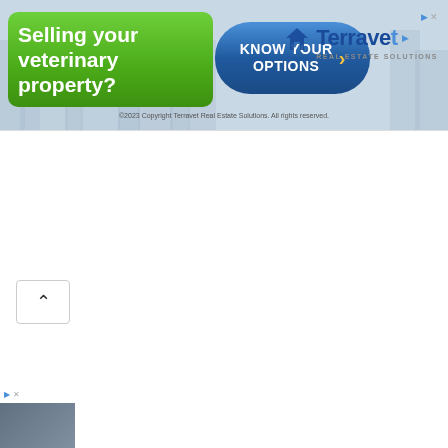[Figure (infographic): Banner advertisement for Terravet Real Estate Solutions. Contains a green rounded button with text 'Selling your veterinary property?', a blue pill-shaped button with text 'KNOW YOUR OPTIONS' and a chevron arrow, and the Terravet logo with tagline 'REAL ESTATE SOLUTIONS'. Below is a small copyright line.]
[Figure (infographic): A collapse/scroll-up button (caret/chevron pointing upward) inside a white rounded rectangle, positioned below the banner.]
[Figure (infographic): Small advertisement thumbnail in bottom-left corner showing a building/property image with ad indicator icons above it.]